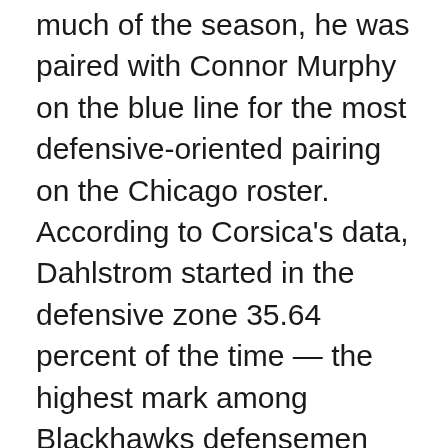much of the season, he was paired with Connor Murphy on the blue line for the most defensive-oriented pairing on the Chicago roster. According to Corsica's data, Dahlstrom started in the defensive zone 35.64 percent of the time — the highest mark among Blackhawks defensemen this season.